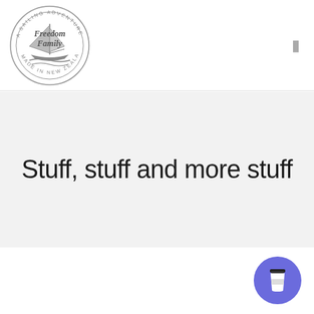[Figure (logo): Freedom Family sailing adventure logo — circular stamp with sailboat, text 'A SAILING ADVENTURE' around the top, 'Freedom Family' in the center, 'MADE IN NEW ZEALAND' around the bottom]
Stuff, stuff and more stuff
[Figure (illustration): Blue/purple circular button with a coffee cup icon (Buy Me a Coffee widget)]